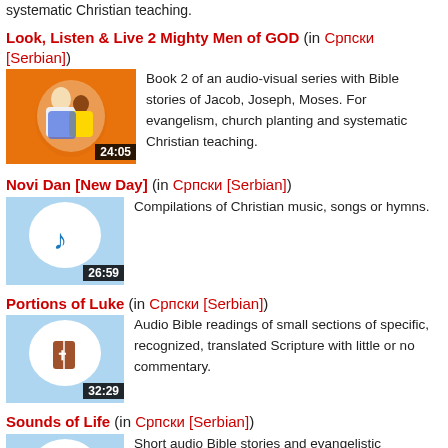systematic Christian teaching.
Look, Listen & Live 2 Mighty Men of GOD (in Српски [Serbian]) — Book 2 of an audio-visual series with Bible stories of Jacob, Joseph, Moses. For evangelism, church planting and systematic Christian teaching. Duration: 24:05
Novi Dan [New Day] (in Српски [Serbian]) — Compilations of Christian music, songs or hymns. Duration: 26:59
Portions of Luke (in Српски [Serbian]) — Audio Bible readings of small sections of specific, recognized, translated Scripture with little or no commentary. Duration: 32:29
Sounds of Life (in Српски [Serbian]) — Short audio Bible stories and evangelistic messages that explain salvation and give...